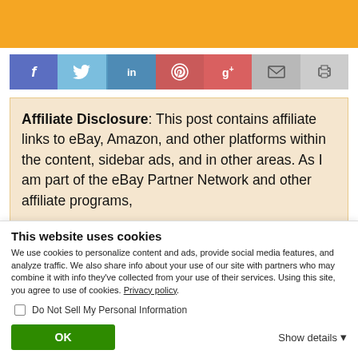[Figure (other): Orange banner at top of page]
[Figure (infographic): Social media share buttons: Facebook (f), Twitter (bird), LinkedIn (in), Pinterest (P), Google+ (g+), Email (envelope), Print (printer)]
Affiliate Disclosure: This post contains affiliate links to eBay, Amazon, and other platforms within the content, sidebar ads, and in other areas. As I am part of the eBay Partner Network and other affiliate programs,
This website uses cookies
We use cookies to personalize content and ads, provide social media features, and analyze traffic. We also share info about your use of our site with partners who may combine it with info they've collected from your use of their services. Using this site, you agree to use of cookies. Privacy policy.
Do Not Sell My Personal Information
OK
Show details